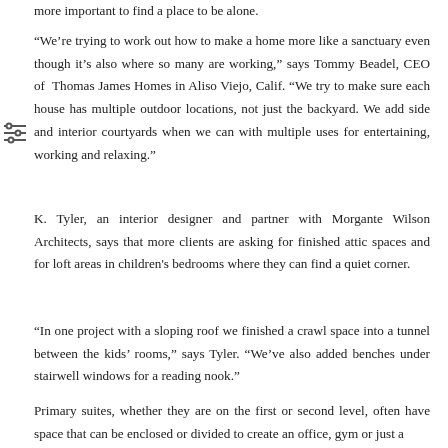more important to find a place to be alone.
“We’re trying to work out how to make a home more like a sanctuary even though it’s also where so many are working,” says Tommy Beadel, CEO of Thomas James Homes in Aliso Viejo, Calif. “We try to make sure each house has multiple outdoor locations, not just the backyard. We add side and interior courtyards when we can with multiple uses for entertaining, working and relaxing.”
K. Tyler, an interior designer and partner with Morgante Wilson Architects, says that more clients are asking for finished attic spaces and for loft areas in children’s bedrooms where they can find a quiet corner.
“In one project with a sloping roof we finished a crawl space into a tunnel between the kids’ rooms,” says Tyler. “We’ve also added benches under stairwell windows for a reading nook.”
Primary suites, whether they are on the first or second level, often have space that can be enclosed or divided to create an office, gym or just a